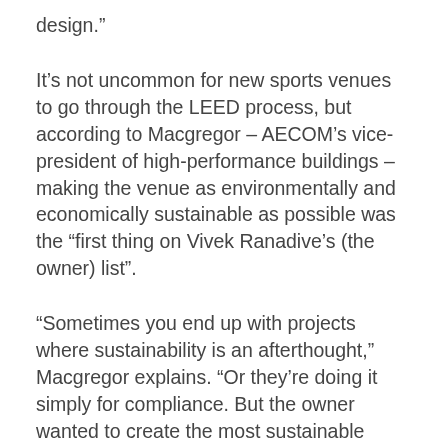design.”
It’s not uncommon for new sports venues to go through the LEED process, but according to Macgregor – AECOM’s vice-president of high-performance buildings – making the venue as environmentally and economically sustainable as possible was the “first thing on Vivek Ranadive’s (the owner) list”.
“Sometimes you end up with projects where sustainability is an afterthought,” Macgregor explains. “Or they’re doing it simply for compliance. But the owner wanted to create the most sustainable sporting venue in the